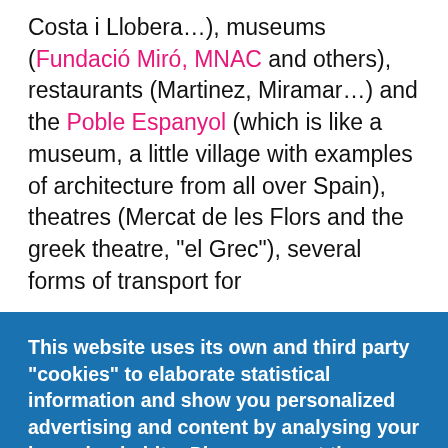Costa i Llobera…), museums (Fundació Miró, MNAC and others), restaurants (Martinez, Miramar…) and the Poble Espanyol (which is like a museum, a little village with examples of architecture from all over Spain), theatres (Mercat de les Flors and the greek theatre, "el Grec"), several forms of transport for
This website uses its own and third party "cookies" to elaborate statistical information and show you personalized advertising and content by analysing your browsing habits. Please, accept the usage of cookies to enjoy full functionality.
More info
OK, I agree   Decline